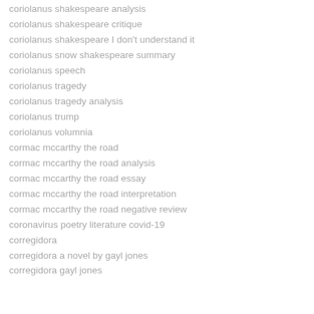coriolanus shakespeare analysis
coriolanus shakespeare critique
coriolanus shakespeare I don't understand it
coriolanus snow shakespeare summary
coriolanus speech
coriolanus tragedy
coriolanus tragedy analysis
coriolanus trump
coriolanus volumnia
cormac mccarthy the road
cormac mccarthy the road analysis
cormac mccarthy the road essay
cormac mccarthy the road interpretation
cormac mccarthy the road negative review
coronavirus poetry literature covid-19
corregidora
corregidora a novel by gayl jones
corregidora gayl jones